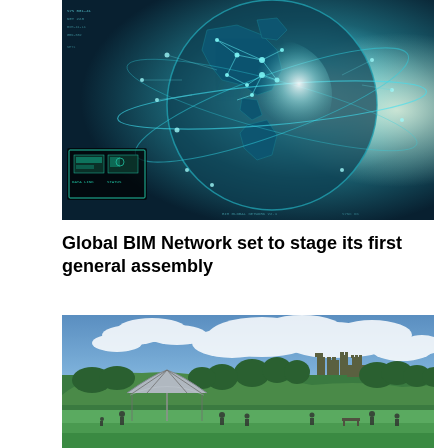[Figure (photo): Digital globe with network connections, data nodes and glowing lines overlaid on a world map showing North America, with a futuristic HUD interface element in the lower left corner. Teal and cyan color scheme with bright highlights.]
Global BIM Network set to stage its first general assembly
[Figure (photo): Outdoor park scene with green grass, people walking, a modern canopy/shelter structure, trees, and a medieval castle on a hillside in the background under a partly cloudy blue sky.]